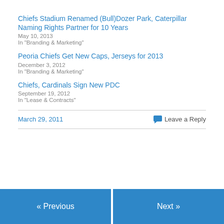Chiefs Stadium Renamed (Bull)Dozer Park, Caterpillar Naming Rights Partner for 10 Years
May 10, 2013
In "Branding & Marketing"
Peoria Chiefs Get New Caps, Jerseys for 2013
December 3, 2012
In "Branding & Marketing"
Chiefs, Cardinals Sign New PDC
September 19, 2012
In "Lease & Contracts"
March 29, 2011
Leave a Reply
« Previous
Next »